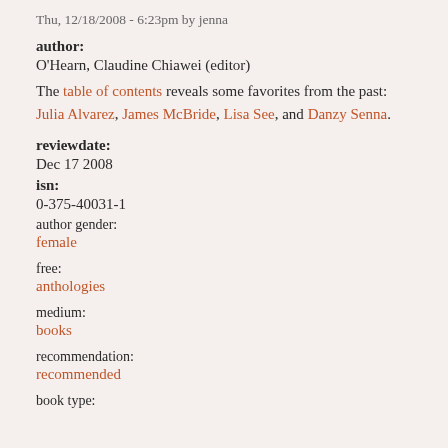Thu, 12/18/2008 - 6:23pm by jenna
author:
O'Hearn, Claudine Chiawei (editor)
The table of contents reveals some favorites from the past: Julia Alvarez, James McBride, Lisa See, and Danzy Senna.
reviewdate:
Dec 17 2008
isn:
0-375-40031-1
author gender:
female
free:
anthologies
medium:
books
recommendation:
recommended
book type: